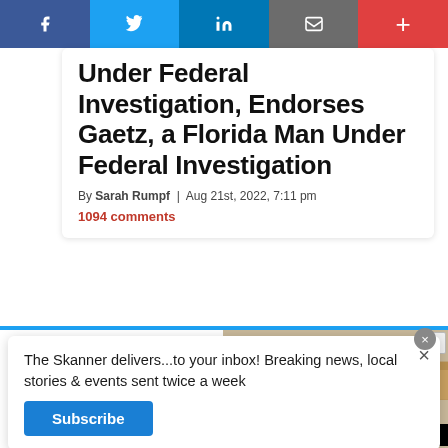[Figure (screenshot): Social media sharing bar with Facebook, Twitter, LinkedIn, email, and plus buttons]
Under Federal Investigation, Endorses Gaetz, a Florida Man Under Federal Investigation
By Sarah Rumpf  Aug 21st, 2022, 7:11 pm
1094 comments
The Skanner delivers...to your inbox! Breaking news, local stories & events sent twice a week
Subscribe
[Figure (photo): Autobuses Lucano advertisement with bus and boxes, phone number 832-798-9608, SERVICIO DE PAQUETERÍA]